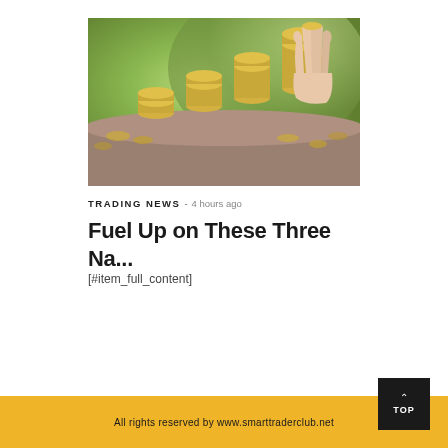[Figure (photo): A hand placing a coin on top of a growing stack of coins, arranged in ascending height order, with scattered coins on a rocky surface and a green blurred background.]
TRADING NEWS - 4 hours ago
Fuel Up on These Three Na...
[#item_full_content]
All rights reserved by www.smarttraderclub.net